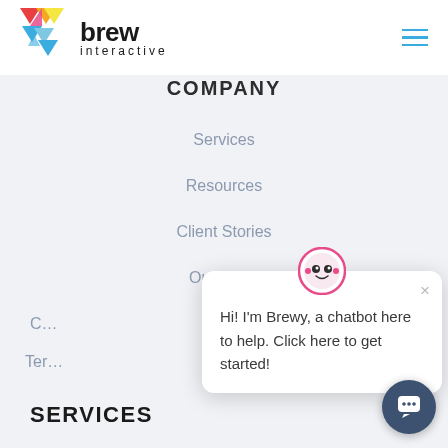[Figure (logo): Brew Interactive logo with colorful triangular icon and bold 'brew interactive' text]
COMPANY
Services
Resources
Client Stories
Our Team
[Figure (screenshot): Chatbot popup with Brewy avatar showing message: Hi! I'm Brewy, a chatbot here to help. Click here to get started!]
SERVICES